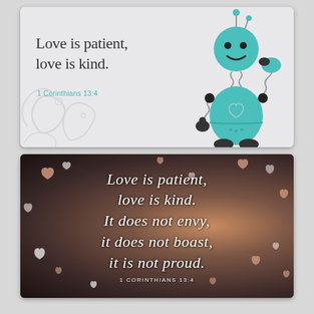[Figure (illustration): Illustrated card with a cute teal/turquoise robot waving, on a light gray background with decorative white swirls. Text reads 'Love is patient, love is kind.' with citation '1 Corinthians 13:4' in teal.]
[Figure (photo): Photo-based inspirational card with bokeh bokeh background showing blurred lights and peach/white heart shapes scattered throughout. Cursive white text reads 'Love is patient, love is kind. It does not envy, it does not boast, it is not proud.' with citation '1 CORINTHIANS 13:4' at bottom.]